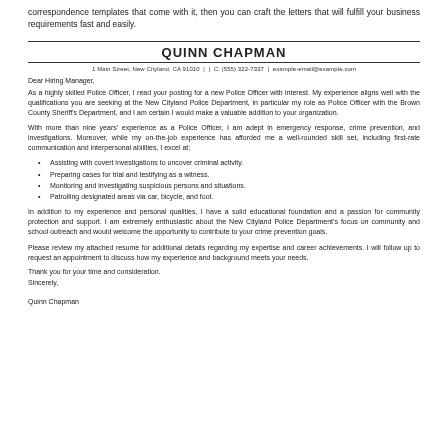correspondence templates that come with it, then you can craft the letters that will fulfill your business requirements fast and easily.
QUINN CHAPMAN
1 Main Street, New Cityland, CA 91010 | | C: (555) 322-7337 | example-email@example.com
Dear Hiring Manager,
As a highly skilled Police Officer, I read your posting for a new Police Officer with interest. My experience aligns well with the qualifications you are seeking at the New Cityland Police Department, in particular my role as Police Officer with the Brown County Sheriff's Department, and I am certain I would make a valuable addition to your organization.
With more than nine years' experience as a Police Officer, I am adept in emergency response, crime prevention, and investigations. Moreover, while my on-the-job experience has afforded me a well-rounded skill set, including first-rate communication and interpersonal abilities, I excel at:
Assisting with covert investigations to uncover criminal activity.
Preparing cases for trial and testifying as a witness.
Monitoring and investigating suspicious persons and situations.
Patrolling designated areas via car, bicycle, and foot.
In addition to my experience and personal qualities, I have a solid educational foundation and a passion for community protection and support. I am extremely enthusiastic about the New Cityland Police Department's focus on community and school outreach and would welcome the opportunity to contribute to your crime prevention goals.
Please review my attached resume for additional details regarding my expertise and career achievements. I will follow up to request an appointment to discuss how my experience and background meets your needs.
Thank you for your time and consideration.
Sincerely,
Quinn Chapman